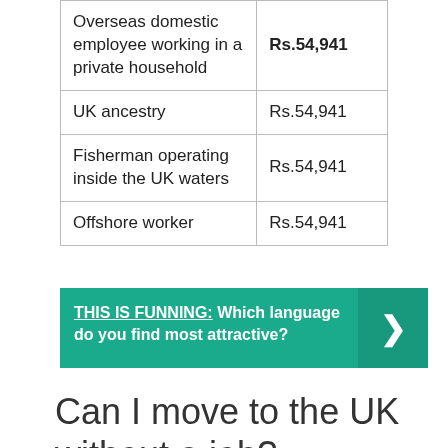|  |  |
| --- | --- |
| Overseas domestic employee working in a private household | Rs.54,941 |
| UK ancestry | Rs.54,941 |
| Fisherman operating inside the UK waters | Rs.54,941 |
| Offshore worker | Rs.54,941 |
THIS IS FUNNING: Which language do you find most attractive?
Can I move to the UK without a job?